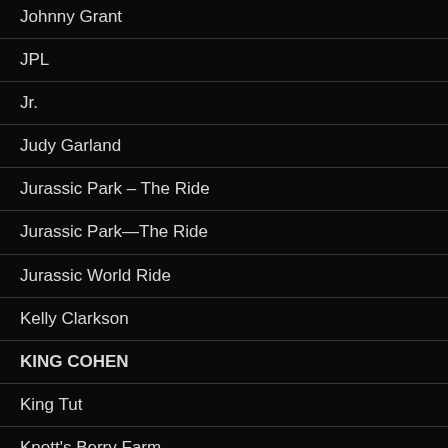Johnny Grant
JPL
Jr.
Judy Garland
Jurassic Park – The Ride
Jurassic Park—The Ride
Jurassic World Ride
Kelly Clarkson
KING COHEN
King Tut
Knott's Berry Farm
LA Auto Show
LA County area Mayors Meeting